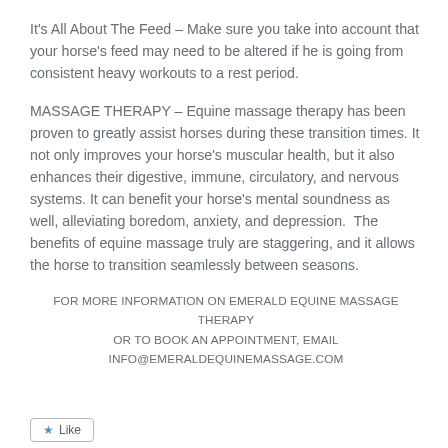It's All About The Feed – Make sure you take into account that your horse's feed may need to be altered if he is going from consistent heavy workouts to a rest period.
MASSAGE THERAPY – Equine massage therapy has been proven to greatly assist horses during these transition times. It not only improves your horse's muscular health, but it also enhances their digestive, immune, circulatory, and nervous systems. It can benefit your horse's mental soundness as well, alleviating boredom, anxiety, and depression.  The benefits of equine massage truly are staggering, and it allows the horse to transition seamlessly between seasons.
FOR MORE INFORMATION ON EMERALD EQUINE MASSAGE THERAPY OR TO BOOK AN APPOINTMENT, EMAIL INFO@EMERALDEQUINEMASSAGE.COM